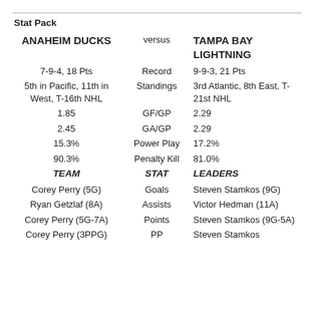Stat Pack
| ANAHEIM DUCKS | versus | TAMPA BAY LIGHTNING |
| --- | --- | --- |
| 7-9-4, 18 Pts | Record | 9-9-3, 21 Pts |
| 5th in Pacific, 11th in West, T-16th NHL | Standings | 3rd Atlantic, 8th East, T-21st NHL |
| 1.85 | GF/GP | 2.29 |
| 2.45 | GA/GP | 2.29 |
| 15.3% | Power Play | 17.2% |
| 90.3% | Penalty Kill | 81.0% |
| TEAM | STAT | LEADERS |
| Corey Perry (5G) | Goals | Steven Stamkos (9G) |
| Ryan Getzlaf (8A) | Assists | Victor Hedman (11A) |
| Corey Perry (5G-7A) | Points | Steven Stamkos (9G-5A) |
| Corey Perry (3PPG) | PP | Steven Stamkos |